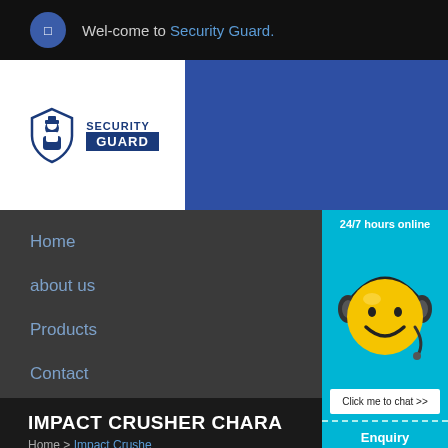Wel-come to Security Guard.
[Figure (logo): Security Guard logo with shield and officer icon, text SECURITY GUARD]
Home
about us
Products
Contact
[Figure (illustration): Yellow smiley face with headset on cyan background, 24/7 hours online, Click me to chat >> button, Enquiry section, cywaitml @gmail.com]
IMPACT CRUSHER CHARA
Home > Impact Crushe...